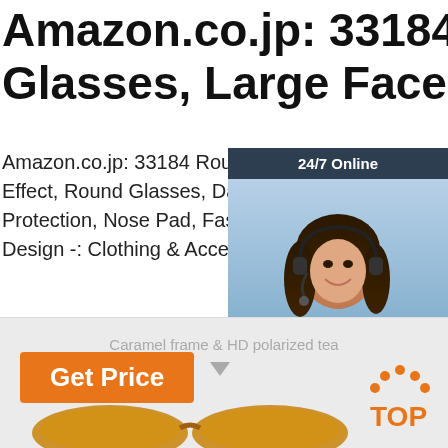Amazon.co.jp: 33184 Round Glasses, Large Face Effect ...
Amazon.co.jp: 33184 Round Glasses, Large Face Effect, Round Glasses, Date Glasses, Lens Protection, Nose Pad, Fashion Classic Retro Design -: Clothing & Accessories
[Figure (photo): Customer service representative woman with headset, 24/7 Online chat widget with QUOTATION button]
[Figure (illustration): Caramel frame & HD polarized tea - label with downward arrow, partial view of round glasses at bottom, TOP logo in orange dots]